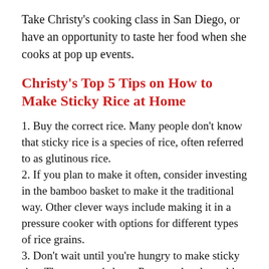Take Christy's cooking class in San Diego, or have an opportunity to taste her food when she cooks at pop up events.
Christy's Top 5 Tips on How to Make Sticky Rice at Home
1. Buy the correct rice. Many people don't know that sticky rice is a species of rice, often referred to as glutinous rice.
2. If you plan to make it often, consider investing in the bamboo basket to make it the traditional way. Other clever ways include making it in a pressure cooker with options for different types of rice grains.
3. Don't wait until you're hungry to make sticky rice. The process is long. Prepare ahead, washing and soaking your rice the night before so you can steam it.